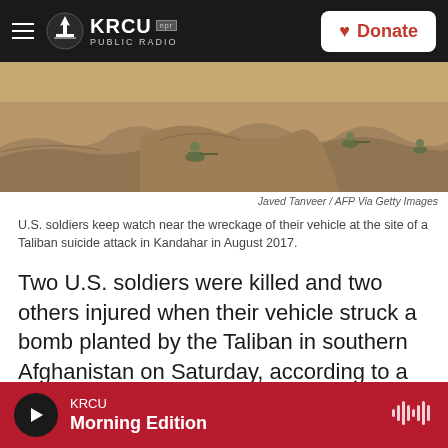KRCU NPR PUBLIC RADIO — Donate
[Figure (photo): U.S. soldiers in combat positions near earthen berms in Afghanistan, arid landscape]
Javed Tanveer / AFP Via Getty Images
U.S. soldiers keep watch near the wreckage of their vehicle at the site of a Taliban suicide attack in Kandahar in August 2017.
Two U.S. soldiers were killed and two others injured when their vehicle struck a bomb planted by the Taliban in southern Afghanistan on Saturday, according to a U.S. military statement reported by the Associated Press.
KRCU Morning Edition